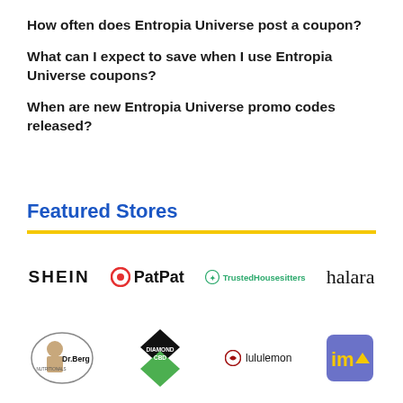How often does Entropia Universe post a coupon?
What can I expect to save when I use Entropia Universe coupons?
When are new Entropia Universe promo codes released?
Featured Stores
[Figure (logo): Row of store logos: SHEIN, PatPat, TrustedHousesitters, halara]
[Figure (logo): Row of store logos: Dr.Berg, Diamond CBD, lululemon, imc]